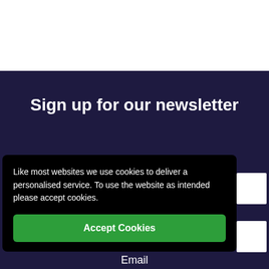Sign up for our newsletter
Like most websites we use cookies to deliver a personalised service. To use the website as intended please accept cookies.
Accept Cookies
Email